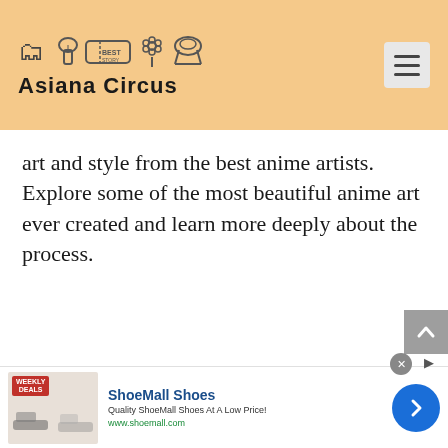Asiana Circus
art and style from the best anime artists. Explore some of the most beautiful anime art ever created and learn more deeply about the process.
[Figure (screenshot): ShoeMall Shoes advertisement banner with weekly deals badge, shoe image, and a next arrow button]
ShoeMall Shoes — Quality ShoeMall Shoes At A Low Price! www.shoemall.com